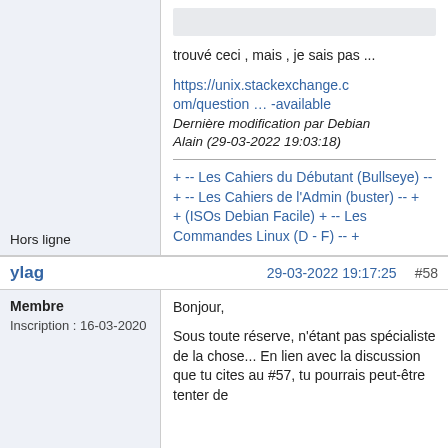[Figure (screenshot): Partial image placeholder at top right of previous post]
trouvé ceci , mais , je sais pas ...
https://unix.stackexchange.com/question … -available
Dernière modification par Debian Alain (29-03-2022 19:03:18)
+ -- Les Cahiers du Débutant (Bullseye) -- + -- Les Cahiers de l'Admin (buster) -- + + (ISOs Debian Facile) + -- Les Commandes Linux (D - F) -- +
Hors ligne
ylag
29-03-2022 19:17:25
#58
Membre
Inscription : 16-03-2020
Bonjour,
Sous toute réserve, n'étant pas spécialiste de la chose... En lien avec la discussion que tu cites au #57, tu pourrais peut-être tenter de